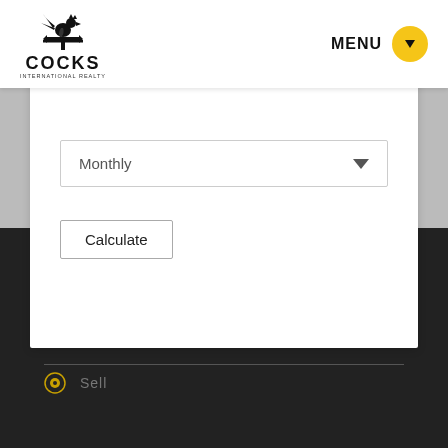[Figure (logo): Cocks International Realty logo with rooster weathervane silhouette above COCKS text]
MENU
Monthly
Calculate
ANDREW JOHN COCKS
HOME
Sell